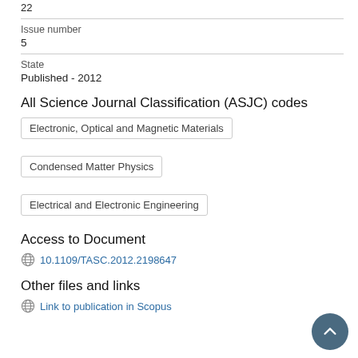22
Issue number
5
State
Published - 2012
All Science Journal Classification (ASJC) codes
Electronic, Optical and Magnetic Materials
Condensed Matter Physics
Electrical and Electronic Engineering
Access to Document
10.1109/TASC.2012.2198647
Other files and links
Link to publication in Scopus